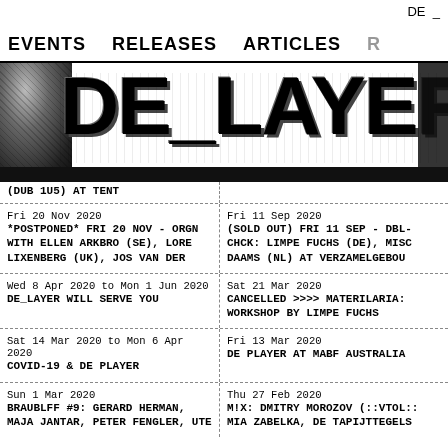DE _
EVENTS   RELEASES   ARTICLES
DE_LAYER
(DUB 1U5) AT TENT
Fri 20 Nov 2020
*POSTPONED* FRI 20 NOV - ORGN WITH ELLEN ARKBRO (SE), LORE LIXENBERG (UK), JOS VAN DER
Fri 11 Sep 2020
(SOLD OUT) FRI 11 SEP - DBL-CHCK: LIMPE FUCHS (DE), MISC DAAMS (NL) AT VERZAMELGEBOU
Wed 8 Apr 2020 to Mon 1 Jun 2020
DE_LAYER WILL SERVE YOU
Sat 21 Mar 2020
CANCELLED >>>> MATERILARIA: WORKSHOP BY LIMPE FUCHS
Sat 14 Mar 2020 to Mon 6 Apr 2020
COVID-19 & DE PLAYER
Fri 13 Mar 2020
DE PLAYER AT MABF AUSTRALIA
Sun 1 Mar 2020
BRAUBLFF #9: GERARD HERMAN, MAJA JANTAR, PETER FENGLER, UTE
Thu 27 Feb 2020
M!X: DMITRY MOROZOV (::VTOL:: MIA ZABELKA, DE TAPIJTTEGELS